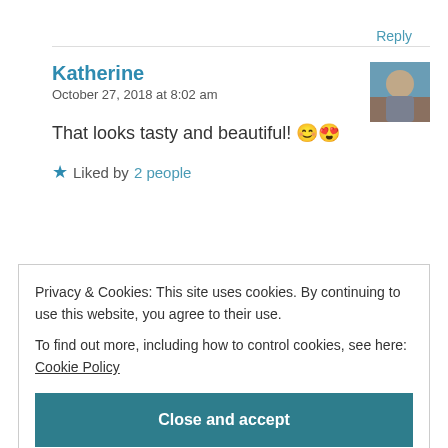Reply
Katherine
October 27, 2018 at 8:02 am
[Figure (photo): Small avatar photo of Katherine showing an outdoor scene]
That looks tasty and beautiful! 😊😍
★ Liked by 2 people
Privacy & Cookies: This site uses cookies. By continuing to use this website, you agree to their use.
To find out more, including how to control cookies, see here: Cookie Policy
Close and accept
Thank you so much my dear Katherine. Glad to know